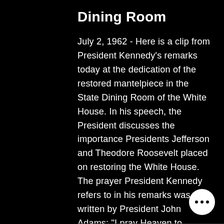Dining Room
July 2, 1962 - Here is a clip from President Kennedy's remarks today at the dedication of the restored mantelpiece in the State Dining Room of the White House. In his speech, the President discusses the importance Presidents Jefferson and Theodore Roosevelt placed on restoring the White House. The prayer President Kennedy refers to in his remarks was written by President John Adams: "I pray Heaven to bestow the best of blessings on this House and all that shall hereafter inha